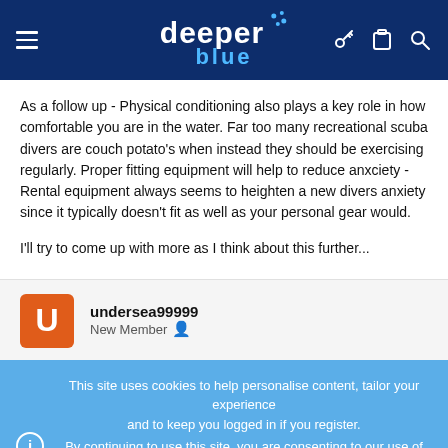deeper blue (logo)
As a follow up - Physical conditioning also plays a key role in how comfortable you are in the water. Far too many recreational scuba divers are couch potato's when instead they should be exercising regularly. Proper fitting equipment will help to reduce anxciety - Rental equipment always seems to heighten a new divers anxiety since it typically doesn't fit as well as your personal gear would.
I'll try to come up with more as I think about this further...
undersea99999
New Member
This site uses cookies to help personalise content, tailor your experience and to keep you logged in if you register.
By continuing to use this site, you are consenting to our use of cookies.